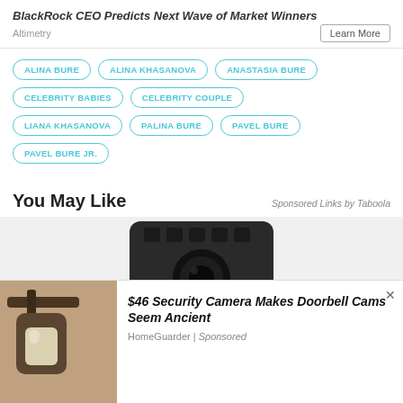BlackRock CEO Predicts Next Wave of Market Winners
Altimetry
Learn More
ALINA BURE
ALINA KHASANOVA
ANASTASIA BURE
CELEBRITY BABIES
CELEBRITY COUPLE
LIANA KHASANOVA
PALINA BURE
PAVEL BURE
PAVEL BURE JR.
You May Like
Sponsored Links by Taboola
[Figure (photo): Dark camera or electronic device from above]
$46 Security Camera Makes Doorbell Cams Seem Ancient
HomeGuarder | Sponsored